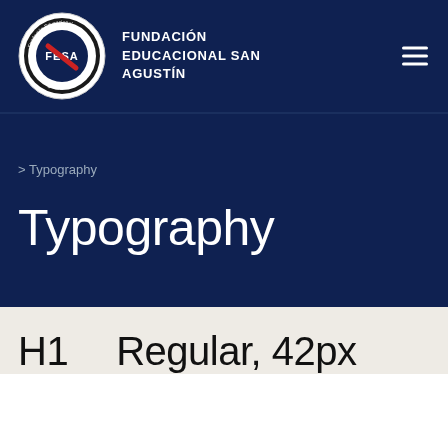[Figure (logo): FESA circular logo — Fundación Educacional San Agustín seal with eagle and text around the border]
FUNDACIÓN EDUCACIONAL SAN AGUSTÍN
> Typography
Typography
H1    Regular 42px